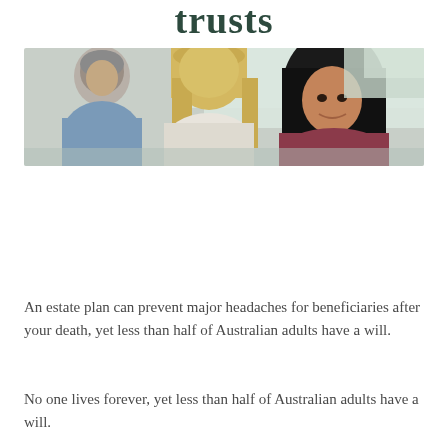trusts
[Figure (photo): Three people in a consultation setting: an older man with grey hair on the left, a blonde woman in the middle seen from behind, and a dark-haired woman in a burgundy top on the right who appears to be speaking with them.]
An estate plan can prevent major headaches for beneficiaries after your death, yet less than half of Australian adults have a will.
No one lives forever, yet less than half of Australian adults have a will.